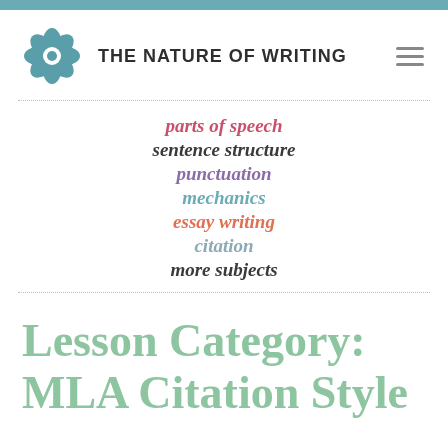[Figure (logo): The Nature of Writing logo: teal flower and text 'THE NATURE OF WRITING']
parts of speech
sentence structure
punctuation
mechanics
essay writing
citation
more subjects
Lesson Category: MLA Citation Style